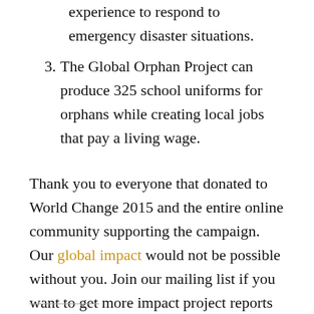experience to respond to emergency disaster situations.
3. The Global Orphan Project can produce 325 school uniforms for orphans while creating local jobs that pay a living wage.
Thank you to everyone that donated to World Change 2015 and the entire online community supporting the campaign. Our global impact would not be possible without you. Join our mailing list if you want to get more impact project reports from our projects.